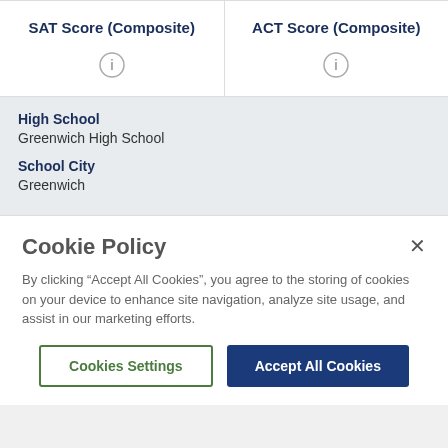| SAT Score (Composite) | ACT Score (Composite) |
| --- | --- |
|   |   |
High School
Greenwich High School
School City
Greenwich
Cookie Policy
By clicking "Accept All Cookies", you agree to the storing of cookies on your device to enhance site navigation, analyze site usage, and assist in our marketing efforts.
Cookies Settings | Accept All Cookies